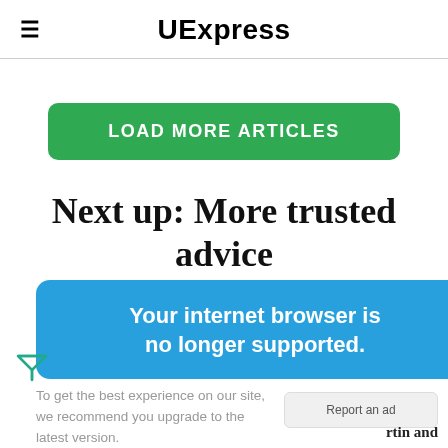UExpress
LOAD MORE ARTICLES
Next up: More trusted advice from...
Your internet browser is no longer supported.
To get the best experience on our site, we recommend you upgrade to the latest version.
Report an ad
rtin and